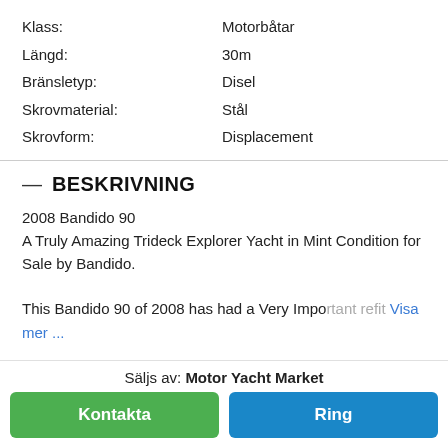Klass: Motorbåtar
Längd: 30m
Bränsletyp: Disel
Skrovmaterial: Stål
Skrovform: Displacement
— BESKRIVNING
2008 Bandido 90
A Truly Amazing Trideck Explorer Yacht in Mint Condition for Sale by Bandido.
This Bandido 90 of 2008 has had a Very Important refit Visa mer ...
Säljs av: Motor Yacht Market
Kontakta
Ring